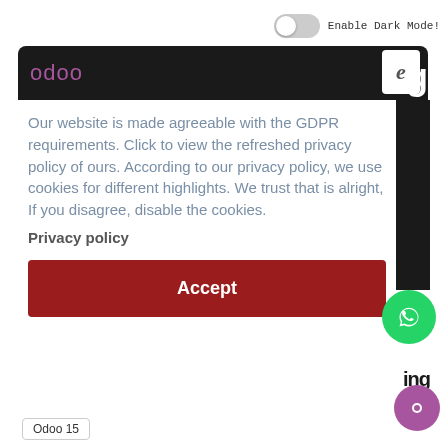Enable Dark Mode!
[Figure (screenshot): Odoo website navigation bar with dark background and logo]
Our website is made agreeable with the GDPR requirements. Click to view the refreshed privacy policy of ours. According to our privacy policy, we use cookies for different highlights. We trust that is alright, If you disagree, disable the cookies.
Privacy policy
Accept
[Figure (logo): WhatsApp icon green circle button]
ing
[Figure (logo): Purple circle icon button]
Odoo 15